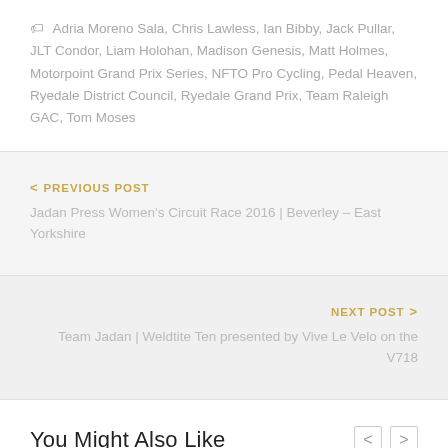🏷 Adria Moreno Sala, Chris Lawless, Ian Bibby, Jack Pullar, JLT Condor, Liam Holohan, Madison Genesis, Matt Holmes, Motorpoint Grand Prix Series, NFTO Pro Cycling, Pedal Heaven, Ryedale District Council, Ryedale Grand Prix, Team Raleigh GAC, Tom Moses
< PREVIOUS POST
Jadan Press Women's Circuit Race 2016 | Beverley – East Yorkshire
NEXT POST >
Team Jadan | Weldtite Ten presented by Vive Le Velo on the V718
You Might Also Like